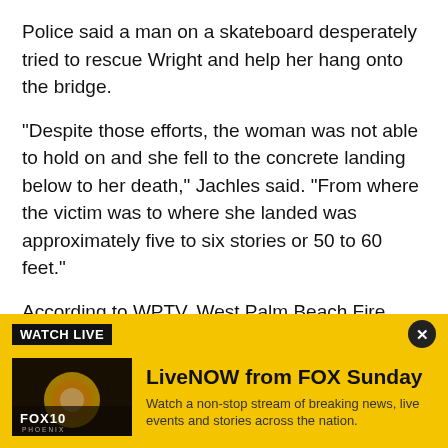Police said a man on a skateboard desperately tried to rescue Wright and help her hang onto the bridge.
"Despite those efforts, the woman was not able to hold on and she fell to the concrete landing below to her death," Jachles said. "From where the victim was to where she landed was approximately five to six stories or 50 to 60 feet."
According to WPTV, West Palm Beach Fire Rescue's Technical Rescue Team had to use ropes and harnesses to lower firefighters beneath the bridge's
[Figure (screenshot): FOX 10 Phoenix LiveNOW ad banner with 'WATCH LIVE' label, FOX 10 Phoenix thumbnail image, and text 'LiveNOW from FOX Sunday - Watch a non-stop stream of breaking news, live events and stories across the nation.']